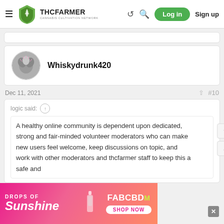THCFarmer - Cannabis Cultivation Network | Log in | Sign up
Whiskydrunk420
Dec 11, 2021  #10
logic said:
A healthy online community is dependent upon dedicated, strong and fair-minded volunteer moderators who can make new users feel welcome, keep discussions on topic, and work with other moderators and thcfarmer staff to keep this a safe and
[Figure (other): Advertisement banner: DROPS OF Sunshine - FABCBD M - SHOP NOW]
DROPS OF Sunshine FABCBD SHOP NOW